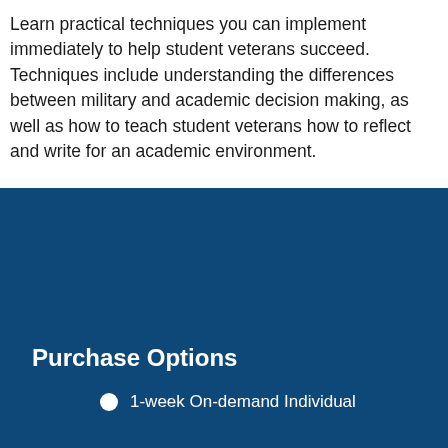Learn practical techniques you can implement immediately to help student veterans succeed. Techniques include understanding the differences between military and academic decision making, as well as how to teach student veterans how to reflect and write for an academic environment.
Purchase Options
1-week On-demand Individual